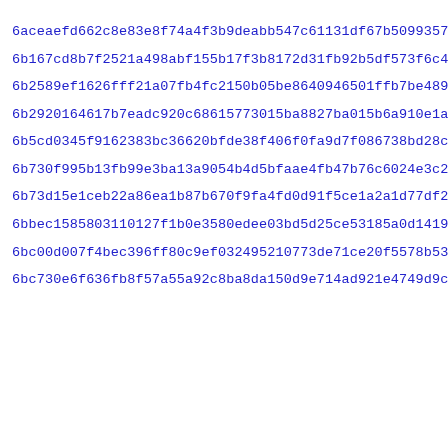6aceaefd662c8e83e8f74a4f3b9deabb547c61131df67b50993570fdfe513
6b167cd8b7f2521a498abf155b17f3b8172d31fb92b5df573f6c4bdc1738f
6b2589ef1626fff21a07fb4fc2150b05be8640946501ffb7be48908a3964f
6b2920164617b7eadc920c68615773015ba8827ba015b6a910e1a335ee427
6b5cd0345f9162383bc36620bfde38f406f0fa9d7f086738bd28c23ed8884
6b730f995b13fb99e3ba13a9054b4d5bfaae4fb47b76c6024e3c2985f32df
6b73d15e1ceb22a86ea1b87b670f9fa4fd0d91f5ce1a2a1d77df256cf4c02
6bbec1585803110127f1b0e3580edee03bd5d25ce53185a0d1419922c201d
6bc00d007f4bec396ff80c9ef032495210773de71ce20f5578b534b404957
6bc730e6f636fb8f57a55a92c8ba8da150d9e714ad921e4749d9c67586fa4